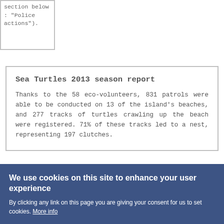| section below : "Police actions"). |
Sea Turtles 2013 season report
Thanks to the 58 eco-volunteers, 831 patrols were able to be conducted on 13 of the island's beaches, and 277 tracks of turtles crawling up the beach were registered. 71% of these tracks led to a nest, representing 197 clutches.
We use cookies on this site to enhance your user experience
By clicking any link on this page you are giving your consent for us to set cookies. More info